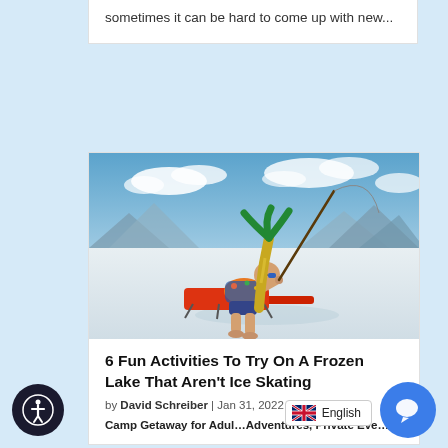sometimes it can be hard to come up with new...
[Figure (photo): Person in Hawaiian shirt and sunglasses reclining on a lounge chair on a salt flat, holding a fishing rod with a green palm tree decoration, with mountains in the background under a blue sky.]
6 Fun Activities To Try On A Frozen Lake That Aren't Ice Skating
by David Schreiber | Jan 31, 2022 |
Camp Getaway for Adults, Adventures, Private Eve...